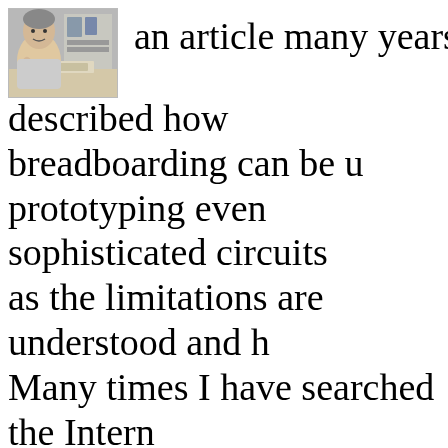[Figure (photo): A man working at a desk with electronics/breadboard equipment]
an article many years back described how breadboarding can be used for prototyping even sophisticated circuits as the limitations are understood and h Many times I have searched the Intern looking for a picture of the breadboard recalled seeing, but to no avail. Finally to him asking if he remembered it and responded by saying it is the one featu